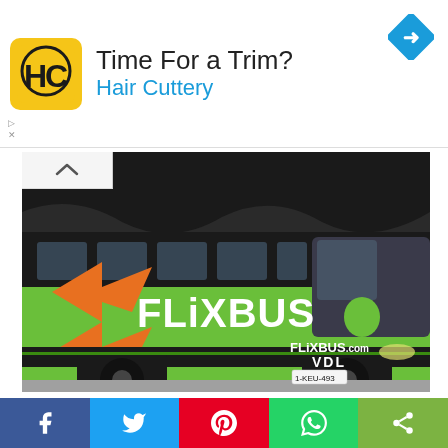[Figure (logo): Hair Cuttery ad banner with HC logo, text 'Time For a Trim?' and 'Hair Cuttery', and a blue direction sign icon]
[Figure (photo): A green FlixBus long-distance coach bus with orange arrow logo and FLIXBUS text on the side, VDL branding, license plate 1-KEU-493]
Starting April, FlixBus will launch the first regular long-distance bus line operated by fully electric buses
[Figure (infographic): Social sharing bar with Facebook, Twitter, Pinterest, WhatsApp, and Share buttons]